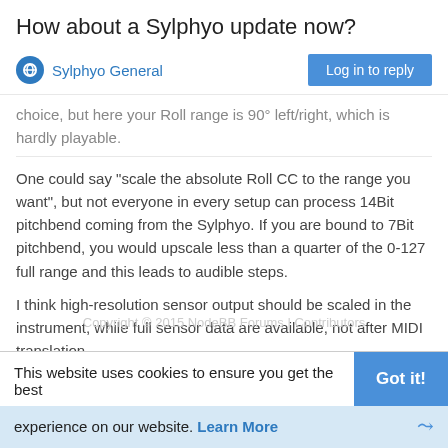How about a Sylphyo update now?
Sylphyo General | Log in to reply
choice, but here your Roll range is 90° left/right, which is hardly playable.
One could say "scale the absolute Roll CC to the range you want", but not everyone in every setup can process 14Bit pitchbend coming from the Sylphyo. If you are bound to 7Bit pitchbend, you would upscale less than a quarter of the 0-127 full range and this leads to audible steps.
I think high-resolution sensor output should be scaled in the instrument, while full sensor data are available, not after MIDI translation.
Copyright © 2015 NodeBB Forums | Contributors
This website uses cookies to ensure you get the best experience on our website. Learn More